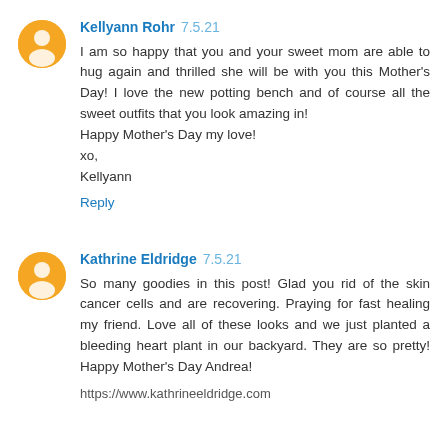Kellyann Rohr 7.5.21
I am so happy that you and your sweet mom are able to hug again and thrilled she will be with you this Mother's Day! I love the new potting bench and of course all the sweet outfits that you look amazing in!
Happy Mother's Day my love!
xo,
Kellyann
Reply
Kathrine Eldridge 7.5.21
So many goodies in this post! Glad you rid of the skin cancer cells and are recovering. Praying for fast healing my friend. Love all of these looks and we just planted a bleeding heart plant in our backyard. They are so pretty! Happy Mother's Day Andrea!
https://www.kathrineeldridge.com